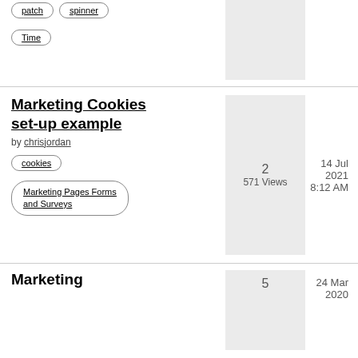patch  spinner  Time
Marketing Cookies set-up example by chrisjordan  cookies  Marketing Pages Forms and Surveys  2  571 Views  14 Jul 2021  8:12 AM
Marketing  5  24 Mar 2020